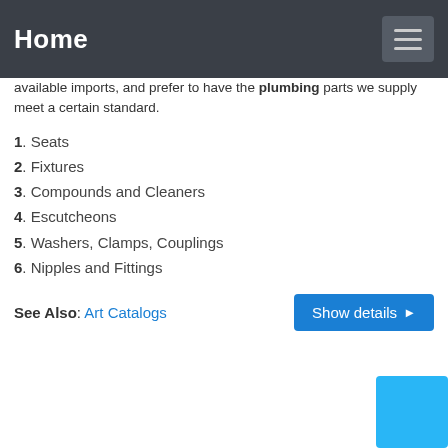Home
available imports, and prefer to have the plumbing parts we supply meet a certain standard.
1. Seats
2. Fixtures
3. Compounds and Cleaners
4. Escutcheons
5. Washers, Clamps, Couplings
6. Nipples and Fittings
See Also: Art Catalogs